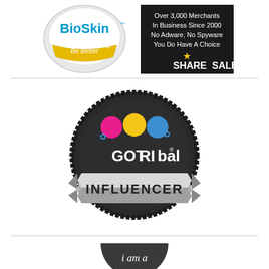[Figure (logo): BioSkin badge logo with 'Be Better' text on gold ribbon banner]
[Figure (logo): ShareASale black banner ad: 'Over 3,000 Merchants In Business Since 2000 No Adware, No Spyware You Do Have A Choice' with star icon and ShareASale text]
[Figure (logo): GOTRIbal Influencer badge - dark circular gear/seal badge with colorful figures and INFLUENCER silver banner ribbon]
[Figure (logo): Circular dark badge partially visible at bottom - 'i am a' text]